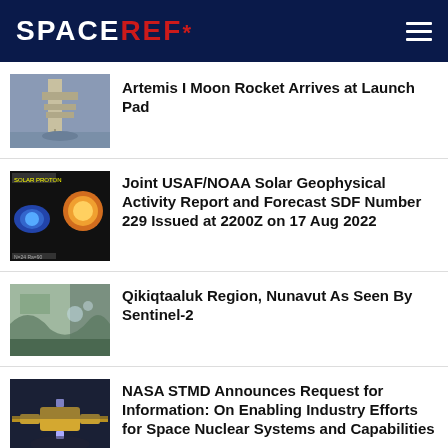SPACEREF*
Artemis I Moon Rocket Arrives at Launch Pad
Joint USAF/NOAA Solar Geophysical Activity Report and Forecast SDF Number 229 Issued at 2200Z on 17 Aug 2022
Qikiqtaaluk Region, Nunavut As Seen By Sentinel-2
NASA STMD Announces Request for Information: On Enabling Industry Efforts for Space Nuclear Systems and Capabilities